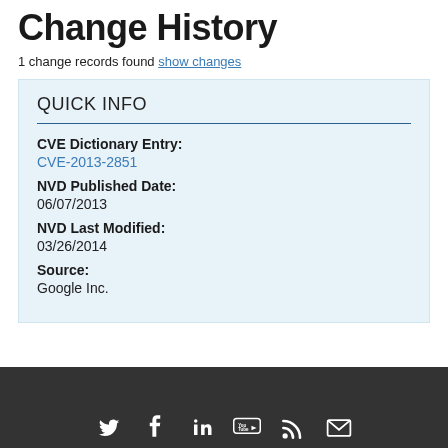Change History
1 change records found show changes
QUICK INFO
CVE Dictionary Entry:
CVE-2013-2851
NVD Published Date:
06/07/2013
NVD Last Modified:
03/26/2014
Source:
Google Inc.
Social media icons: Twitter, Facebook, LinkedIn, YouTube, RSS, Email